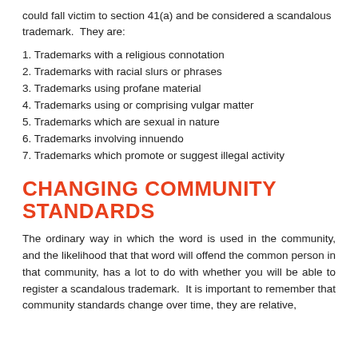could fall victim to section 41(a) and be considered a scandalous trademark.  They are:
1. Trademarks with a religious connotation
2. Trademarks with racial slurs or phrases
3. Trademarks using profane material
4. Trademarks using or comprising vulgar matter
5. Trademarks which are sexual in nature
6. Trademarks involving innuendo
7. Trademarks which promote or suggest illegal activity
CHANGING COMMUNITY STANDARDS
The ordinary way in which the word is used in the community, and the likelihood that that word will offend the common person in that community, has a lot to do with whether you will be able to register a scandalous trademark.  It is important to remember that community standards change over time, they are relative,